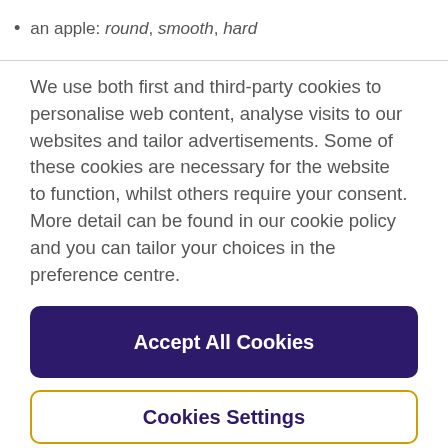an apple: round, smooth, hard
We use both first and third-party cookies to personalise web content, analyse visits to our websites and tailor advertisements. Some of these cookies are necessary for the website to function, whilst others require your consent. More detail can be found in our cookie policy and you can tailor your choices in the preference centre.
Accept All Cookies
Cookies Settings